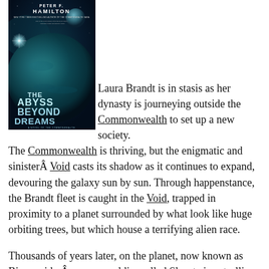[Figure (illustration): Book cover of 'The Abyss Beyond Dreams' by Peter F. Hamilton. Dark blue/teal cosmic background with a large planet and smaller moon, glowing starlight. Title text visible on cover along with author name and series subtitle.]
Laura Brandt is in stasis as her dynasty is journeying outside the Commonwealth to set up a new society. The Commonwealth is thriving, but the enigmatic and sinisterÂ Void casts its shadow as it continues to expand, devouring the galaxy sun by sun. Through happenstance, the Brandt fleet is caught in the Void, trapped in proximity to a planet surrounded by what look like huge orbiting trees, but which house a terrifying alien race.
Thousands of years later, on the planet, now known as Bienvenido,Â a young soldier called Slvasta is patrolling